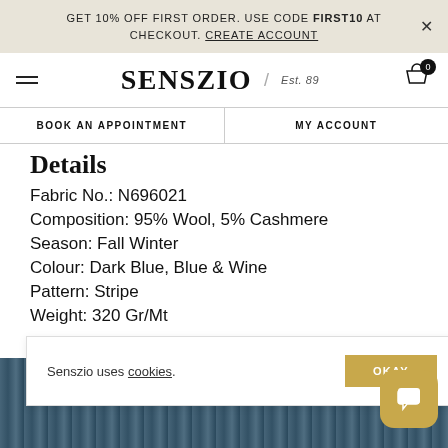GET 10% OFF FIRST ORDER. USE CODE FIRST10 AT CHECKOUT. CREATE ACCOUNT
[Figure (logo): Senszio brand logo with hamburger menu, logo text SENSZIO Est. 89, and shopping cart icon]
BOOK AN APPOINTMENT | MY ACCOUNT
Details
Fabric No.: N696021
Composition: 95% Wool, 5% Cashmere
Season: Fall Winter
Colour: Dark Blue, Blue & Wine
Pattern: Stripe
Weight: 320 Gr/Mt
[Figure (photo): Dark blue wool fabric texture swatch]
Senszio uses cookies. OKAY